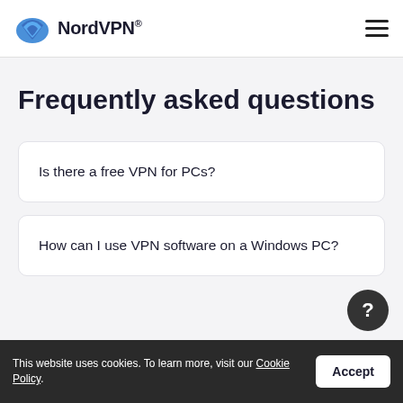NordVPN®
Frequently asked questions
Is there a free VPN for PCs?
How can I use VPN software on a Windows PC?
This website uses cookies. To learn more, visit our Cookie Policy. Accept